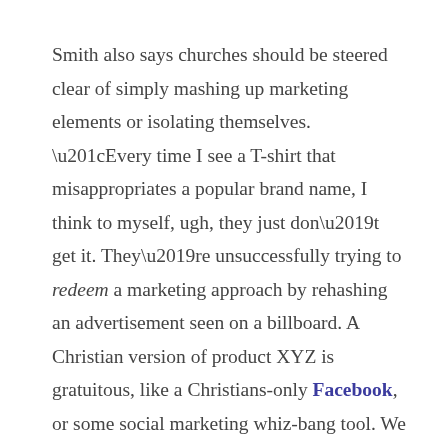Smith also says churches should be steered clear of simply mashing up marketing elements or isolating themselves. “Every time I see a T-shirt that misappropriates a popular brand name, I think to myself, ugh, they just don’t get it. They’re unsuccessfully trying to redeem a marketing approach by rehashing an advertisement seen on a billboard. A Christian version of product XYZ is gratuitous, like a Christians-only Facebook, or some social marketing whiz-bang tool. We need Christians amongst their fellow men, who can be there to lean on, rather than off in some self-congratulatory walled garden.”